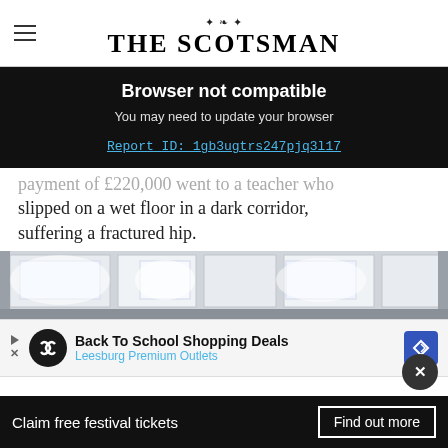THE SCOTSMAN
Browser not compatible
You may need to update your browser
Report ID: 1gb3ugtrs247pjq3l17
payment of £220,000 went to a teacher who slipped on a wet floor in a dark corridor, suffering a fractured hip.
[Figure (photo): Interior school corridor with ceiling lights and tiled ceiling]
Back To School Shopping Deals
Leesburg Premium Outlets
Claim free festival tickets
Find out more